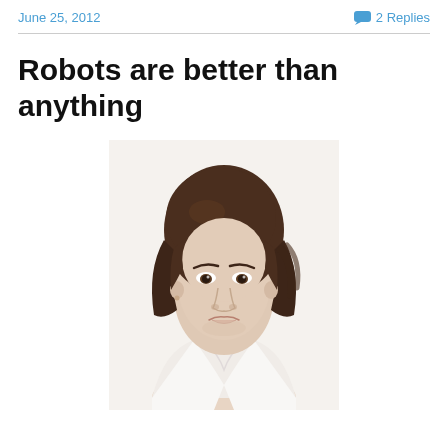June 25, 2012    2 Replies
Robots are better than anything
[Figure (photo): Portrait photo of a woman with short dark wavy hair, wearing a white blouse, smiling slightly, against a light background.]